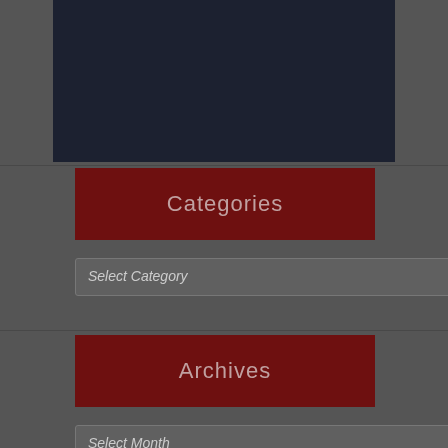[Figure (photo): Dark/black photograph area at the top of the page, partially visible]
Categories
[Figure (screenshot): Select Category dropdown input element]
Archives
[Figure (screenshot): Select Month dropdown input element]
[Figure (logo): YEG logo with Y in red, E in blue, G in blue on white/light background]
[Figure (other): Dark red scroll-to-top button with upward arrow in bottom right corner]